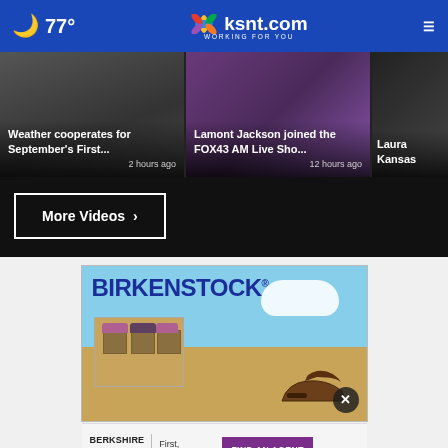77° ksnt.com WORKING FOR YOU
[Figure (screenshot): Video thumbnail: Weather cooperates for September's First...]
Weather cooperates for September's First... 2 hours ago
[Figure (screenshot): Video thumbnail: Lamont Jackson joined the FOX43 AM Live Sho...]
Lamont Jackson joined the FOX43 AM Live Sho... 12 hours ago
[Figure (screenshot): Video thumbnail: Laura Kansas...]
More Videos ›
[Figure (photo): Birkenstock advertisement showing a building with awnings and a shoe, with clouds in a blue sky background and the Birkenstock logo]
[Figure (photo): Berkshire Hathaway HomeServices advertisement with 'First, REALTORS' and 'FIND AN AGENT' button]